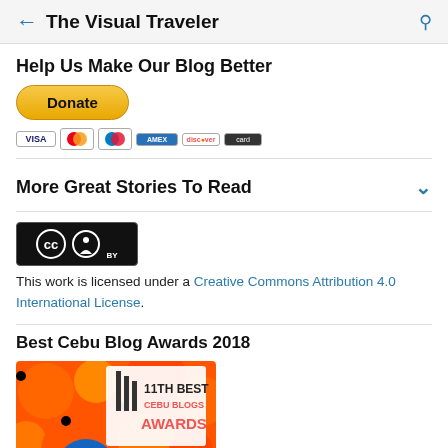The Visual Traveler
Help Us Make Our Blog Better
[Figure (illustration): PayPal Donate button (yellow rounded rectangle) with payment card icons below: Visa, Mastercard, Maestro, American Express, Discover, and another card]
More Great Stories To Read
[Figure (logo): Creative Commons BY license badge - black background with CC and person icons]
This work is licensed under a Creative Commons Attribution 4.0 International License.
Best Cebu Blog Awards 2018
[Figure (illustration): 11th Best Cebu Blogs Awards badge with orange sunflower design and circular photo of Margaux Camaya, www.thevisualtraveler.net]